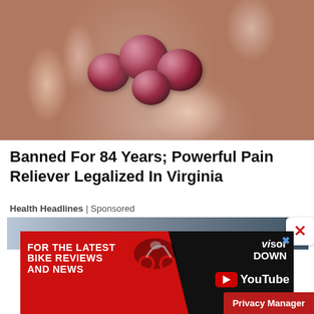[Figure (photo): A hand holding several dark red sugar-coated gummy candies]
Banned For 84 Years; Powerful Pain Reliever Legalized In Virginia
Health Headlines | Sponsored
[Figure (photo): Partial view of a street scene, partially obscured]
[Figure (infographic): Advertisement banner: FOR THE LATEST BIKE REVIEWS AND NEWS - Visor Down YouTube channel ad with motorcyclist silhouette]
Privacy Manager